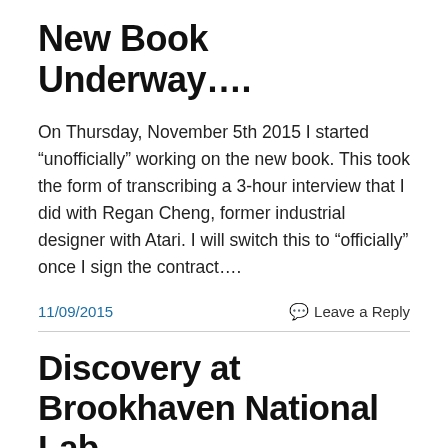New Book Underway….
On Thursday, November 5th 2015 I started “unofficially” working on the new book. This took the form of transcribing a 3-hour interview that I did with Regan Cheng, former industrial designer with Atari. I will switch this to “officially” once I sign the contract….
11/09/2015    Leave a Reply
Discovery at Brookhaven National Lab
[Figure (photo): Photograph of an open notebook with lined pages and a dark strap/binding visible]